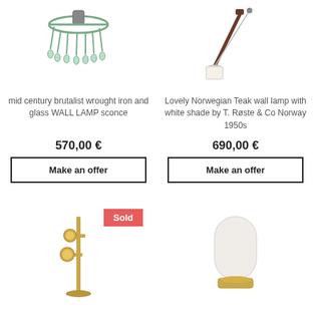[Figure (photo): Mid century brutalist wrought iron and glass wall lamp sconce - chandelier style fixture with hanging glass pieces]
mid century brutalist wrought iron and glass WALL LAMP sconce
570,00 €
Make an offer
[Figure (photo): Lovely Norwegian Teak wall lamp with white shade by T. Røste & Co Norway 1950s - angular arm lamp]
Lovely Norwegian Teak wall lamp with white shade by T. Røste & Co Norway 1950s
690,00 €
Make an offer
[Figure (photo): Brass floor lamp with two adjustable spotlight heads - Sold]
[Figure (photo): White rounded frosted glass table lamp with brass base]